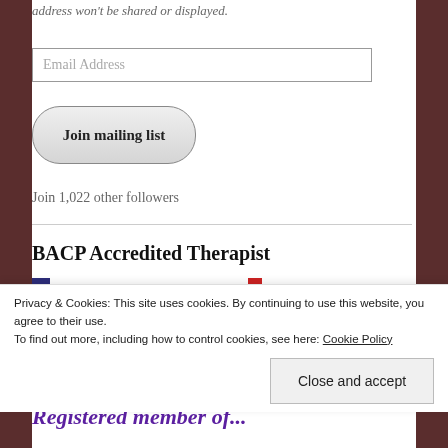address won't be shared or displayed.
Email Address
Join mailing list
Join 1,022 other followers
BACP Accredited Therapist
Privacy & Cookies: This site uses cookies. By continuing to use this website, you agree to their use.
To find out more, including how to control cookies, see here: Cookie Policy
Close and accept
Registered member of...